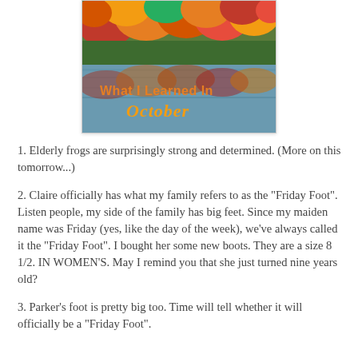[Figure (photo): Autumn scene with colorful fall foliage trees reflected in a lake/river, with orange cursive text overlay reading 'What I Learned In October']
1. Elderly frogs are surprisingly strong and determined. (More on this tomorrow...)
2. Claire officially has what my family refers to as the "Friday Foot". Listen people, my side of the family has big feet. Since my maiden name was Friday (yes, like the day of the week), we've always called it the "Friday Foot". I bought her some new boots. They are a size 8 1/2. IN WOMEN'S. May I remind you that she just turned nine years old?
3. Parker's foot is pretty big too. Time will tell whether it will officially be a "Friday Foot".